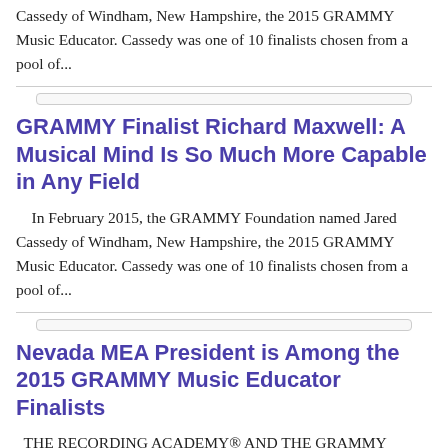Cassedy of Windham, New Hampshire, the 2015 GRAMMY Music Educator. Cassedy was one of 10 finalists chosen from a pool of...
GRAMMY Finalist Richard Maxwell: A Musical Mind Is So Much More Capable in Any Field
In February 2015, the GRAMMY Foundation named Jared Cassedy of Windham, New Hampshire, the 2015 GRAMMY Music Educator. Cassedy was one of 10 finalists chosen from a pool of...
Nevada MEA President is Among the 2015 GRAMMY Music Educator Finalists
THE RECORDING ACADEMY® AND THE GRAMMY FOUNDATION®  announced the finalists for the Second Annual Music Educator Award of the Year award recently. The 2015 award will be presented at...